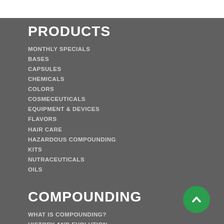PRODUCTS
MONTHLY SPECIALS
BASES
CAPSULES
CHEMICALS
COLORS
COSMECEUTICALS
EQUIPMENT & DEVICES
FLAVORS
HAIR CARE
HAZARDOUS COMPOUNDING
KITS
NUTRACEUTICALS
OILS
COMPOUNDING
WHAT IS COMPOUNDING?
HISTORY AND EVOLUTION
COMPOUNDING TYPES
SAFETY
DRUG SHORTAGES
COMPOUNDING FAQs